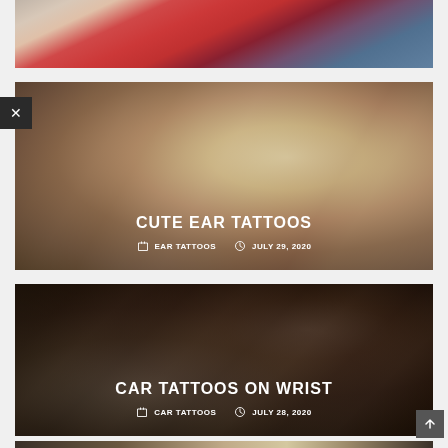[Figure (photo): Partial view of a tattoo on a hand or wrist, showing colorful tattoo art with red and pink elements against a blue-grey background, cropped at top of page]
[Figure (photo): Close-up portrait of a blonde woman with green eyes and braided hair, showing a small ear tattoo near her ear]
CUTE EAR TATTOOS
EAR TATTOOS   JULY 29, 2020
[Figure (photo): Close-up of a detailed black and grey car tattoo on a wrist/arm, showing intricate mechanical/automotive design]
CAR TATTOOS ON WRIST
CAR TATTOOS   JULY 28, 2020
[Figure (photo): Partial bottom view of another tattoo image, partially cropped at the bottom of the page]